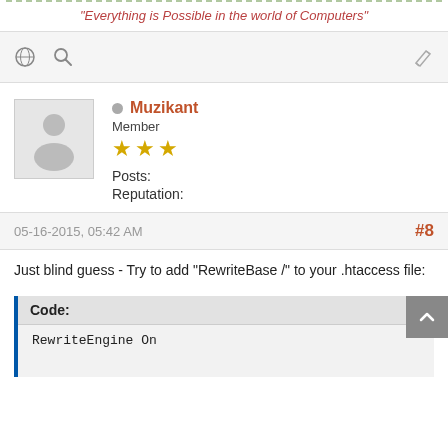"Everything is Possible in the world of Computers"
Muzikant
Member
Posts: 118
Reputation: 1
05-16-2015, 05:42 AM  #8
Just blind guess - Try to add "RewriteBase /" to your .htaccess file:
Code:
RewriteEngine On